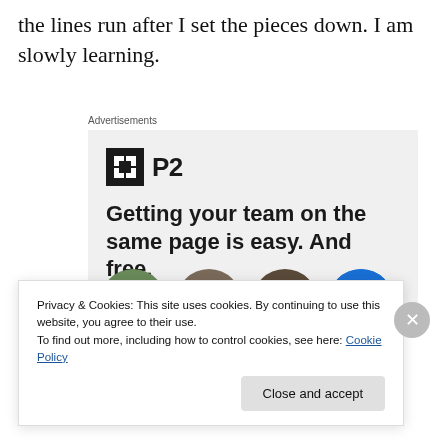the lines run after I set the pieces down. I am slowly learning.
Advertisements
[Figure (infographic): Advertisement for P2 product. Shows P2 logo (black square with white icon and 'P2' text). Headline reads: 'Getting your team on the same page is easy. And free.' Below are circular avatar photos of team members including one blue circle.]
Privacy & Cookies: This site uses cookies. By continuing to use this website, you agree to their use.
To find out more, including how to control cookies, see here: Cookie Policy
Close and accept